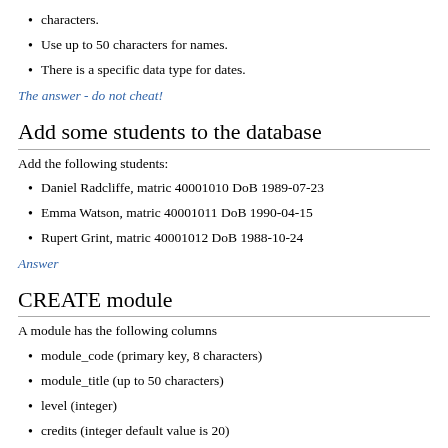characters.
Use up to 50 characters for names.
There is a specific data type for dates.
The answer - do not cheat!
Add some students to the database
Add the following students:
Daniel Radcliffe, matric 40001010 DoB 1989-07-23
Emma Watson, matric 40001011 DoB 1990-04-15
Rupert Grint, matric 40001012 DoB 1988-10-24
Answer
CREATE module
A module has the following columns
module_code (primary key, 8 characters)
module_title (up to 50 characters)
level (integer)
credits (integer default value is 20)